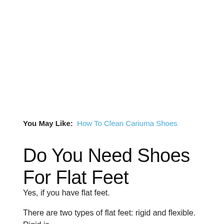You May Like:  How To Clean Cariuma Shoes
Do You Need Shoes For Flat Feet
Yes, if you have flat feet.
There are two types of flat feet: rigid and flexible. Rigid is